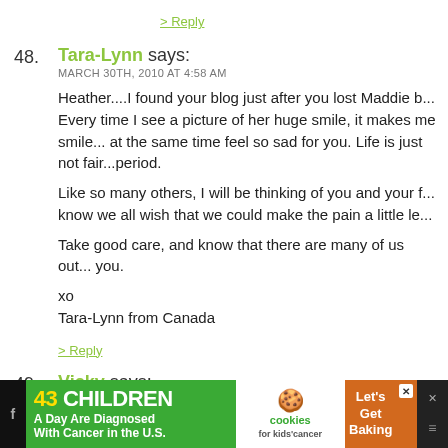> Reply
48. Tara-Lynn says:
MARCH 30TH, 2010 AT 4:58 AM

Heather....I found your blog just after you lost Maddie b... Every time I see a picture of her huge smile, it makes me smile... at the same time feel so sad for you. Life is just not fair...period.

Like so many others, I will be thinking of you and your f... know we all wish that we could make the pain a little le...

Take good care, and know that there are many of us out... you.

xo
Tara-Lynn from Canada
> Reply
49. Vicky says:
MARCH 30TH, 2010 AT 4:58 AM
[Figure (other): Advertisement banner: '43 CHILDREN A Day Are Diagnosed With Cancer in the U.S.' with cookies for kids' cancer logo and 'Let's Get Baking' text]